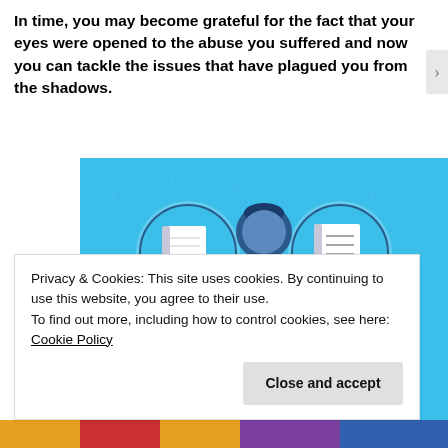In time, you may become grateful for the fact that your eyes were opened to the abuse you suffered and now you can tackle the issues that have plagued you from the shadows.
[Figure (illustration): Day One journaling app advertisement. Blue background with illustrated character holding a phone, flanked by two circular icons showing a blank notebook and a lined notebook. Text reads 'DAY ONE' and 'The only journaling app you'll ever need.']
Privacy & Cookies: This site uses cookies. By continuing to use this website, you agree to their use.
To find out more, including how to control cookies, see here: Cookie Policy
Close and accept